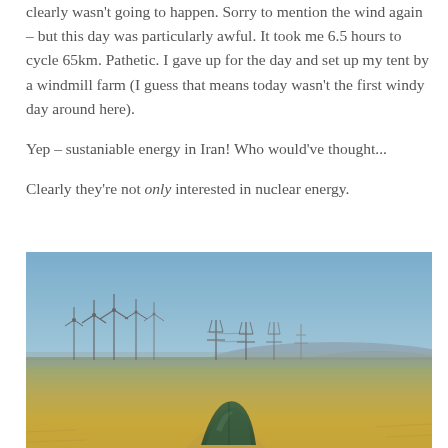clearly wasn't going to happen. Sorry to mention the wind again – but this day was particularly awful. It took me 6.5 hours to cycle 65km. Pathetic. I gave up for the day and set up my tent by a windmill farm (I guess that means today wasn't the first windy day around here).
Yep – sustaniable energy in Iran! Who would've thought...
Clearly they're not only interested in nuclear energy.
[Figure (photo): A wide open flat steppe landscape under a clear blue sky. Wind turbines are visible in the middle distance on the left, along with electricity transmission towers. In the foreground at the bottom, a green camping tent is set up on dry brown grassland.]